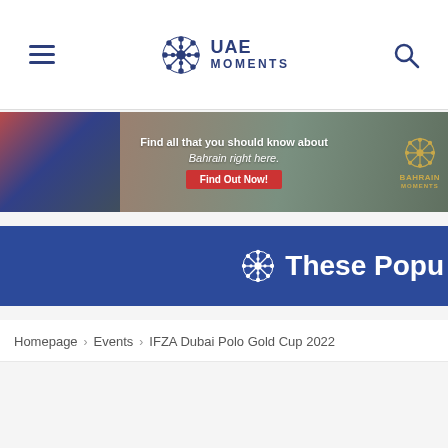UAE Moments
[Figure (screenshot): Advertisement banner for Bahrain Moments: 'Find all that you should know about Bahrain right here. Find Out Now!']
These Popu
Homepage > Events > IFZA Dubai Polo Gold Cup 2022